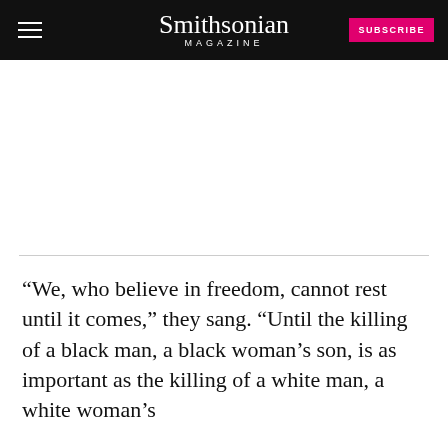Smithsonian MAGAZINE SUBSCRIBE
“We, who believe in freedom, cannot rest until it comes,” they sang. “Until the killing of a black man, a black woman’s son, is as important as the killing of a white man, a white woman’s